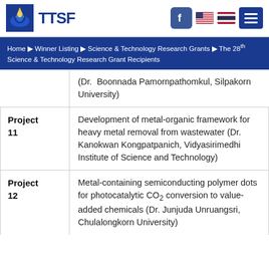TTSF
Home ▶ Winner Listing ▶ Science & Technology Research Grants ▶ The 28th Science & Technology Research Grant Recipients
| Project | Description |
| --- | --- |
|  | (Dr. Boonnada Pamornpathomkul, Silpakorn University) |
| Project 11 | Development of metal-organic framework for heavy metal removal from wastewater (Dr. Kanokwan Kongpatpanich, Vidyasirimedhi Institute of Science and Technology) |
| Project 12 | Metal-containing semiconducting polymer dots for photocatalytic CO2 conversion to value-added chemicals (Dr. Junjuda Unruangsri, Chulalongkorn University) |